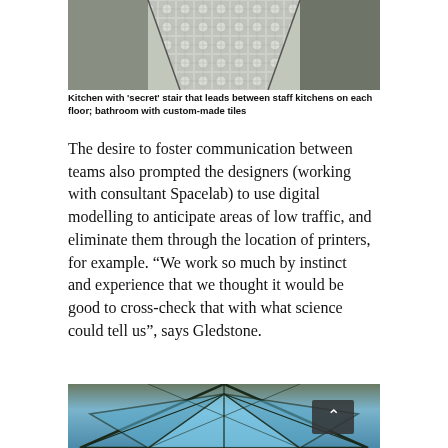[Figure (photo): Kitchen with a patterned tile floor featuring a diamond/cross pattern, viewed from above, with walls on either side — showing the 'secret' stair area between staff kitchens.]
Kitchen with 'secret' stair that leads between staff kitchens on each floor; bathroom with custom-made tiles
The desire to foster communication between teams also prompted the designers (working with consultant Spacelab) to use digital modelling to anticipate areas of low traffic, and eliminate them through the location of printers, for example. “We work so much by instinct and experience that we thought it would be good to cross-check that with what science could tell us”, says Gledstone.
[Figure (photo): Architectural photograph looking up at a geometric glass skylight or ceiling structure with hexagonal framing and blue glass panels, with radiating structural beams.]